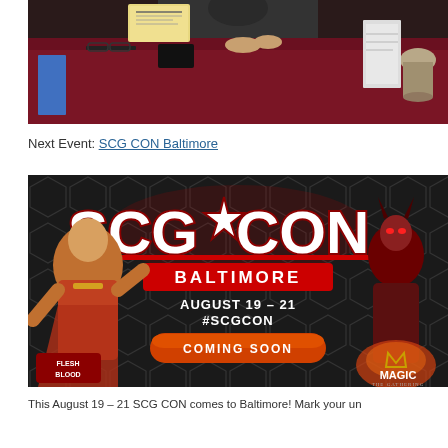[Figure (photo): Photo of a person seated behind a table covered with a dark maroon/burgundy tablecloth at what appears to be a convention or vendor booth. Various items including a sign, glasses, and books are visible on the table.]
Next Event: SCG CON Baltimore
[Figure (illustration): SCG CON Baltimore promotional banner on a dark hexagonal patterned background. Features large white 'SCG CON' text with red styling, a red 'BALTIMORE' badge, date 'AUGUST 19 - 21 #SCGCON', a 'COMING SOON' button, fantasy game characters on left and right sides, Flesh and Blood logo on bottom left, and Magic: The Gathering logo on bottom right.]
This August 19 – 21 SCG CON comes to Baltimore! Mark your un